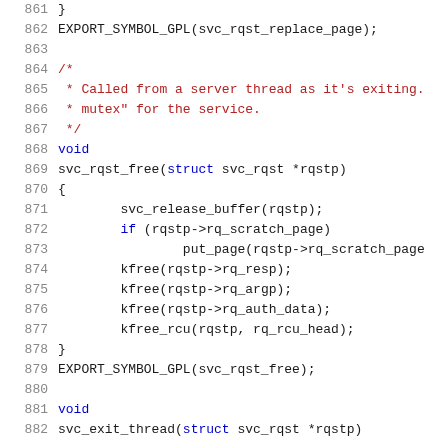[Figure (screenshot): Source code listing showing C kernel code lines 861-882, with syntax highlighting: line numbers in grey, keywords in blue, comments in red/dark red, identifiers in black, using monospace font.]